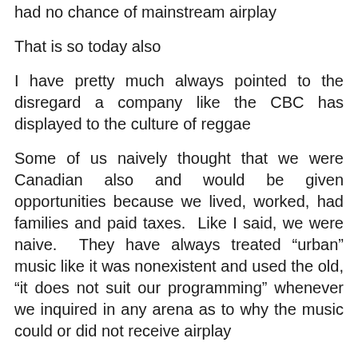had no chance of mainstream airplay
That is so today also
I have pretty much always pointed to the disregard a company like the CBC has displayed to the culture of reggae
Some of us naively thought that we were Canadian also and would be given opportunities because we lived, worked, had families and paid taxes.  Like I said, we were naive.  They have always treated “urban” music like it was nonexistent and used the old, “it does not suit our programming” whenever we inquired in any arena as to why the music could or did not receive airplay
We could cry racism all we wanted, which was blatantly clear {and still is blatantly clear today} but who was going to listen to the silenced voices of black